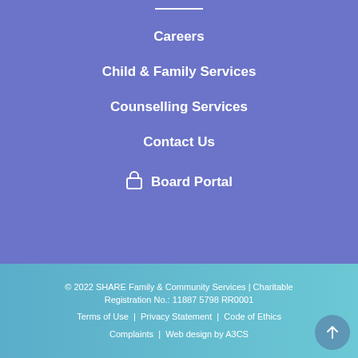Careers
Child & Family Services
Counselling Services
Contact Us
Board Portal
© 2022 SHARE Family & Community Services | Charitable Registration No.: 11887 5798 RR0001
Terms of Use | Privacy Statement | Code of Ethics
Complaints | Web design by A3CS